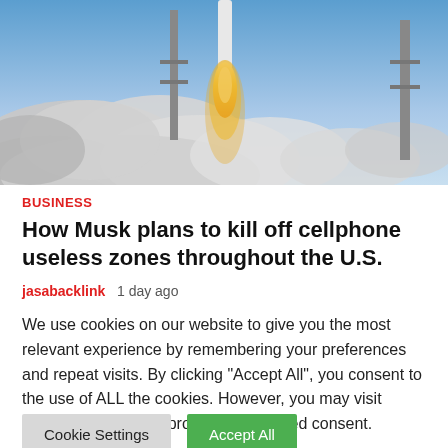[Figure (photo): Rocket launch with large white smoke clouds and a rocket ascending with yellow/orange exhaust flame, launch towers visible, blue sky background]
BUSINESS
How Musk plans to kill off cellphone useless zones throughout the U.S.
jasabacklink   1 day ago
We use cookies on our website to give you the most relevant experience by remembering your preferences and repeat visits. By clicking "Accept All", you consent to the use of ALL the cookies. However, you may visit "Cookie Settings" to provide a controlled consent.